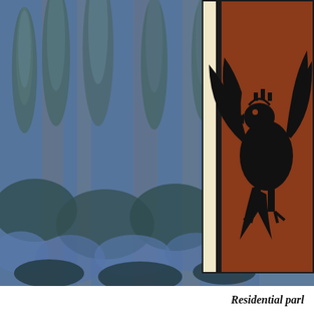[Figure (photo): Large photograph of tall blue-purple flowering plants (echium/pride of Madeira) with dense columnar flower spikes in a garden or natural setting, with trees visible in the background. The image has a blue-grey tinted tone.]
[Figure (illustration): Close-up of a decorative illustration or artwork on a red/brown background showing a black heraldic eagle or bird figure, partially visible (cropped). Appears to be a coat of arms or decorative emblem.]
Residential parl